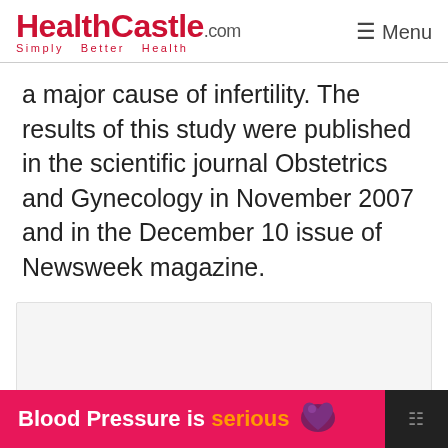HealthCastle.com Simply Better Health — Menu
a major cause of infertility. The results of this study were published in the scientific journal Obstetrics and Gynecology in November 2007 and in the December 10 issue of Newsweek magazine.
[Figure (other): Advertisement placeholder box (empty gray rectangle)]
[Figure (other): Bottom banner advertisement reading 'Blood Pressure is serious' with a heart icon on a pink/dark background]